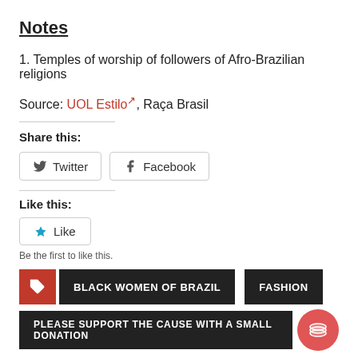Notes
1. Temples of worship of followers of Afro-Brazilian religions
Source: UOL Estilo↗, Raça Brasil
Share this:
Twitter  Facebook
Like this:
Like
Be the first to like this.
BLACK WOMEN OF BRAZIL  FASHION
PLEASE SUPPORT THE CAUSE WITH A SMALL DONATION
[Figure (photo): Small image thumbnail at bottom]